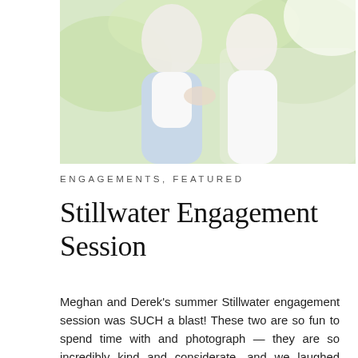[Figure (photo): Photo of a couple in an outdoor engagement session, woman in light blue pants and white top, man in white shirt, soft greenery background]
ENGAGEMENTS, FEATURED
Stillwater Engagement Session
Meghan and Derek's summer Stillwater engagement session was SUCH a blast! These two are so fun to spend time with and photograph — they are so incredibly kind and considerate, and we laughed basically the whole session! The